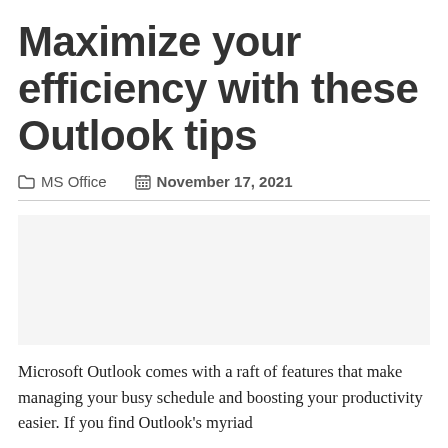Maximize your efficiency with these Outlook tips
MS Office   November 17, 2021
[Figure (photo): Blank/white image placeholder area below the metadata divider]
Microsoft Outlook comes with a raft of features that make managing your busy schedule and boosting your productivity easier. If you find Outlook's myriad